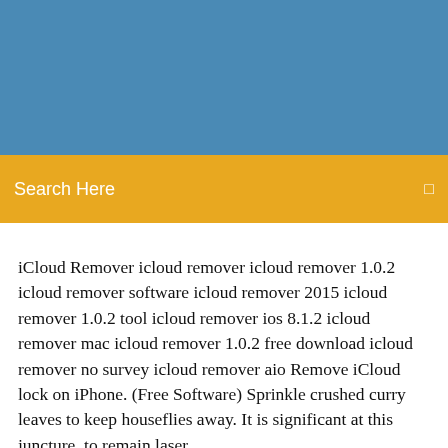[Figure (other): Blue header banner background]
Search Here
iCloud Remover icloud remover icloud remover 1.0.2 icloud remover software icloud remover 2015 icloud remover 1.0.2 tool icloud remover ios 8.1.2 icloud remover mac icloud remover 1.0.2 free download icloud remover no survey icloud remover aio Remove iCloud lock on iPhone. (Free Software) Sprinkle crushed curry leaves to keep houseflies away. It is significant at this juncture, to remain laser …